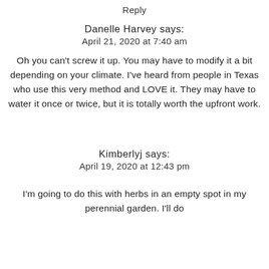Reply
Danelle Harvey says:
April 21, 2020 at 7:40 am
Oh you can't screw it up. You may have to modify it a bit depending on your climate. I've heard from people in Texas who use this very method and LOVE it. They may have to water it once or twice, but it is totally worth the upfront work.
Kimberlyj says:
April 19, 2020 at 12:43 pm
I'm going to do this with herbs in an empty spot in my perennial garden. I'll do